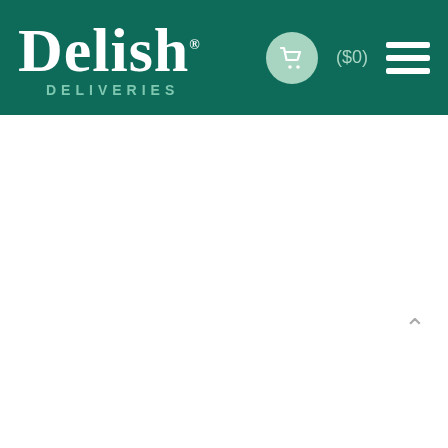Delish Deliveries — ($0)
key to all we do!
We work our